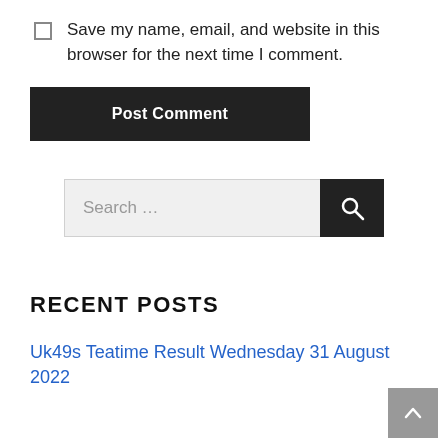Save my name, email, and website in this browser for the next time I comment.
Post Comment
Search …
RECENT POSTS
Uk49s Teatime Result Wednesday 31 August 2022